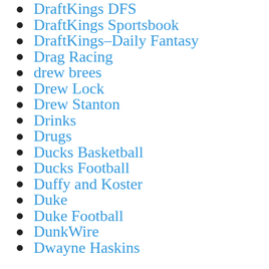DraftKings DFS
DraftKings Sportsbook
DraftKings–Daily Fantasy
Drag Racing
drew brees
Drew Lock
Drew Stanton
Drinks
Drugs
Ducks Basketball
Ducks Football
Duffy and Koster
Duke
Duke Football
DunkWire
Dwayne Haskins